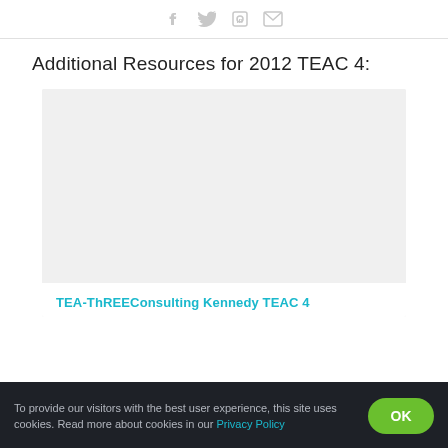[Figure (illustration): Social media share icons: Facebook, Twitter, LinkedIn, Email — shown in light gray at the top of the page]
Additional Resources for 2012 TEAC 4:
[Figure (screenshot): A large light gray placeholder image area for a resource card thumbnail]
TEA-ThREEConsulting Kennedy TEAC 4
To provide our visitors with the best user experience, this site uses cookies. Read more about cookies in our Privacy Policy